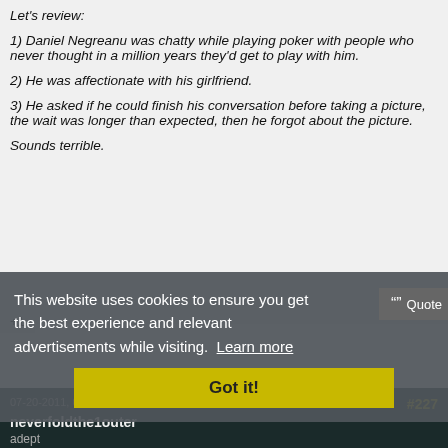Let's review:
1) Daniel Negreanu was chatty while playing poker with people who never thought in a million years they'd get to play with him.
2) He was affectionate with his girlfriend.
3) He asked if he could finish his conversation before taking a picture, the wait was longer than expected, then he forgot about the picture.
Sounds terrible.
+1
This website uses cookies to ensure you get the best experience and relevant advertisements while visiting. Learn more
Got it!
07-20-2011, 05:49 PM
#227
neverfoldthe1outer
adept